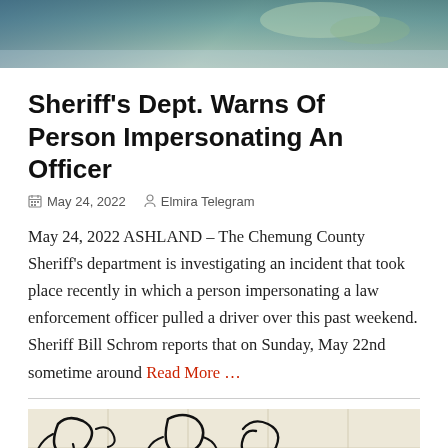[Figure (photo): Top banner image with blue-green tones, appears to be an outdoor scene]
Sheriff's Dept. Warns Of Person Impersonating An Officer
May 24, 2022   Elmira Telegram
May 24, 2022 ASHLAND – The Chemung County Sheriff's department is investigating an incident that took place recently in which a person impersonating a law enforcement officer pulled a driver over this past weekend. Sheriff Bill Schrom reports that on Sunday, May 22nd sometime around Read More …
[Figure (illustration): Black ink drawing/sketch on light background showing abstract figures]